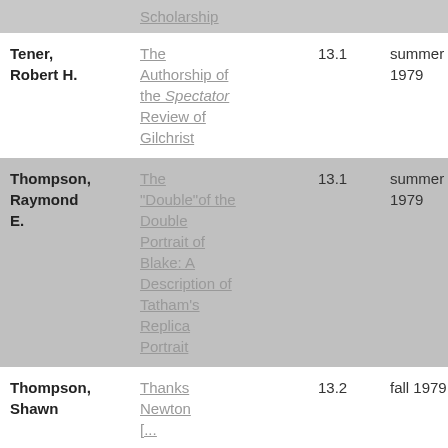| Author | Title | Vol | Season | Pages |
| --- | --- | --- | --- | --- |
|  | Scholarship |  |  |  |
| Tener, Robert H. | The Authorship of the Spectator Review of Gilchrist | 13.1 | summer 1979 | 33-35 |
| Thompson, Raymond E. | The "Double" of the Double Portrait of Blake: A Description of Tatham's Replica Portrait | 13.1 | summer 1979 | 29-32 |
| Thompson, Shawn | Thanks Newton [...] | 13.2 | fall 1979 | 105 |